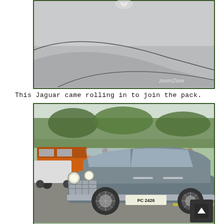[Figure (photo): Close-up of a classic car hood/bonnet showing smooth grey bodywork, a chrome jaguar leaper hood ornament at the top, and elegant body line curves. Watermark 'zoom2see' visible in bottom right corner.]
This Jaguar came rolling in to join the pack.
[Figure (photo): Classic Jaguar Mark 2 sedan in metallic grey/silver color, license plate PC 2426, parked at an outdoor car show. Background shows other classic cars including an orange VW bus/van, trees, and people milling about. A scroll-to-top button overlay appears in the bottom right corner.]